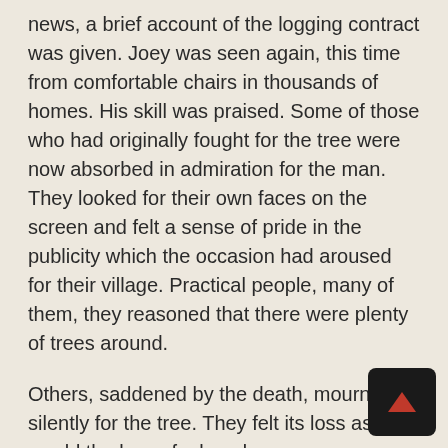news, a brief account of the logging contract was given. Joey was seen again, this time from comfortable chairs in thousands of homes. His skill was praised. Some of those who had originally fought for the tree were now absorbed in admiration for the man. They looked for their own faces on the screen and felt a sense of pride in the publicity which the occasion had aroused for their village. Practical people, many of them, they reasoned that there were plenty of trees around.
Others, saddened by the death, mourned silently for the tree. They felt its loss as they would the loss of a loved one.
At the edge of the cliff in the small park, night came prematurely. Heavy, dark clouds hung sullenly overhead. The wind whispered and moaned as if in grief. No longer a majestic tree, only the stump remained, its rings now boldly revealing its age. The stump stayed behind as a stubborn, ugly reminder of